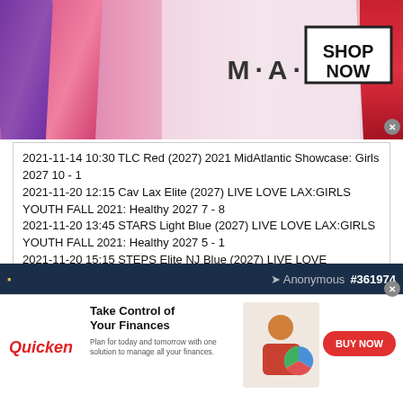[Figure (photo): MAC cosmetics advertisement banner with lipsticks, MAC logo, and SHOP NOW box]
2021-11-14 10:30 TLC Red (2027) 2021 MidAtlantic Showcase: Girls 2027 10 - 1
2021-11-20 12:15 Cav Lax Elite (2027) LIVE LOVE LAX:GIRLS YOUTH FALL 2021: Healthy 2027 7 - 8
2021-11-20 13:45 STARS Light Blue (2027) LIVE LOVE LAX:GIRLS YOUTH FALL 2021: Healthy 2027 5 - 1
2021-11-20 15:15 STEPS Elite NJ Blue (2027) LIVE LOVE LAX:GIRLS YOUTH FALL 2021: Healthy 2027 6 - 4
This is basically a collection of rec teams. Anybody, including TG at the 27' age group would lose to any top 10 A team by a lot
Anonymous #361974
[Figure (photo): Quicken advertisement: Take Control of Your Finances - BUY NOW button]